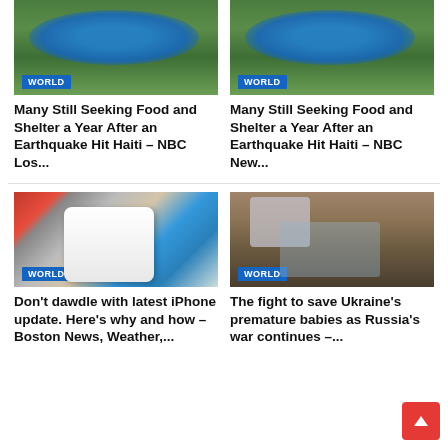[Figure (photo): Aerial view of blue tarps/tents arranged in green field - Haiti earthquake aftermath (left)]
WORLD
Many Still Seeking Food and Shelter a Year After an Earthquake Hit Haiti – NBC Los...
[Figure (photo): Aerial view of blue tarps/tents arranged in green field - Haiti earthquake aftermath (right)]
WORLD
Many Still Seeking Food and Shelter a Year After an Earthquake Hit Haiti – NBC New...
[Figure (photo): Multiple iPhones in various colors displayed side by side]
WORLD
Don't dawdle with latest iPhone update. Here's why and how – Boston News, Weather,...
[Figure (photo): Hospital room with premature baby incubators in Ukraine]
WORLD
The fight to save Ukraine's premature babies as Russia's war continues –...